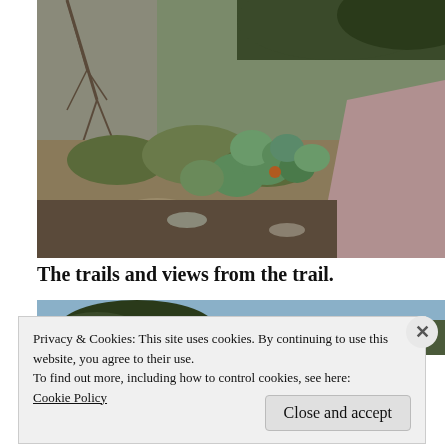[Figure (photo): Outdoor desert trail scene with prickly pear cactus, scrub brush, dry ground with rocks and reddish dirt path visible at right]
The trails and views from the trail.
[Figure (photo): Partial view of a second trail photo showing trees and sky, mostly obscured by cookie consent overlay]
Privacy & Cookies: This site uses cookies. By continuing to use this website, you agree to their use.
To find out more, including how to control cookies, see here:
Cookie Policy
Close and accept